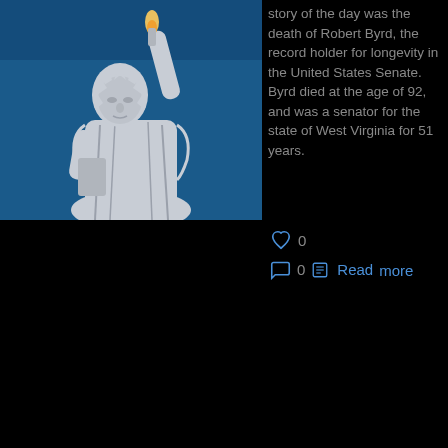[Figure (photo): Photograph of the Statue of Liberty against a blue sky, showing the upper body, face, crown, and raised torch arm.]
story of the day was the death of Robert Byrd, the record holder for longevity in the United States Senate.  Byrd died at the age of 92, and was a senator for the state of West Virginia for 51 years.
♡ 0
💬 0  📋 Read more